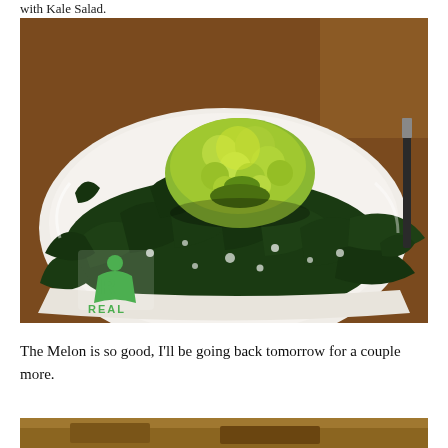with Kale Salad.
[Figure (photo): A white plate with dark green kale salad topped with a mound of yellow-green guacamole or avocado-based dish. A green REAL logo is visible in the lower left corner of the image. Background shows a wooden table setting.]
The Melon is so good, I'll be going back tomorrow for a couple more.
[Figure (photo): Partial view of another food photo, showing a warm brown/tan surface — partially cropped at bottom of page.]